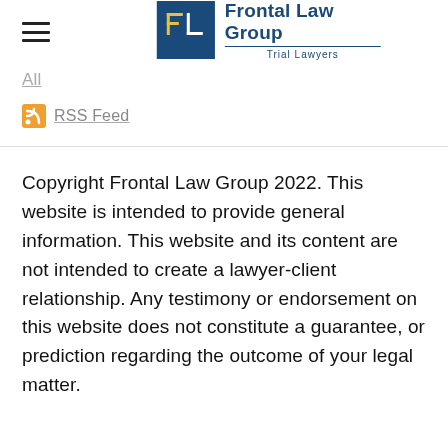[Figure (logo): Frontal Law Group logo with hamburger menu icon on left and FL monogram icon with company name and Trial Lawyers subtitle on right]
All
RSS Feed
Copyright Frontal Law Group 2022. This website is intended to provide general information. This website and its content are not intended to create a lawyer-client relationship. Any testimony or endorsement on this website does not constitute a guarantee, or prediction regarding the outcome of your legal matter.